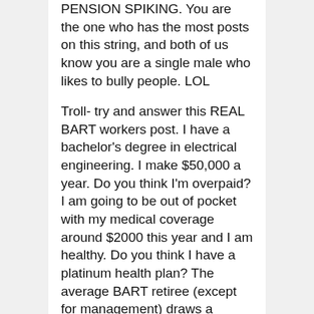PENSION SPIKING. You are the one who has the most posts on this string, and both of us know you are a single male who likes to bully people. LOL
Troll- try and answer this REAL BART workers post. I have a bachelor's degree in electrical engineering. I make $50,000 a year. Do you think I'm overpaid? I am going to be out of pocket with my medical coverage around $2000 this year and I am healthy. Do you think I have a platinum health plan? The average BART retiree (except for management) draws a $21,000 pension. Could you live on $21,000 a